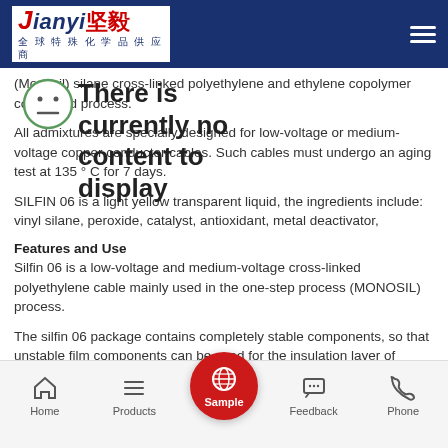Jianyi 坚毅 全球特殊化学品供应商
(Monosil) silane cross-linked polyethylene and ethylene copolymer compound process.
All admixtures are specially designed for low-voltage or medium-voltage copper conductor cables. Such cables must undergo an aging test at 135 ° C for 7 days.
SILFIN 06 is a light yellow transparent liquid, the ingredients include: vinyl silane, peroxide, catalyst, antioxidant, metal deactivator,
Features and Use
Silfin 06 is a low-voltage and medium-voltage cross-linked polyethylene cable mainly used in the one-step process (MONOSIL) process.
The silfin 06 package contains completely stable components, so that unstable film components can be used for the insulation layer of copper wires.
Cross-linked cables using Silfin 06 are subjected to a 7-day aging test at 1355 ° C in copper wires.
High temperature resistance the main reason why
Home  Products  Sample  Feedback  Phone